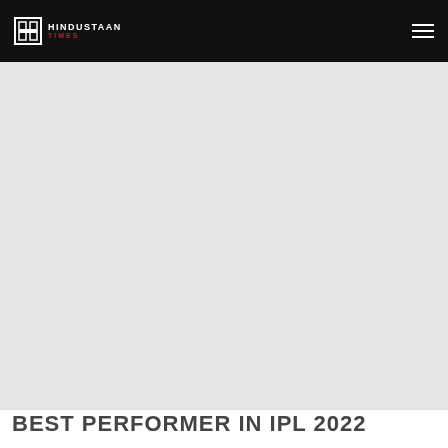HINDUSTAAN TIMES
[Figure (photo): Large light grey placeholder image area below the header navigation bar]
BEST PERFORMER IN IPL 2022